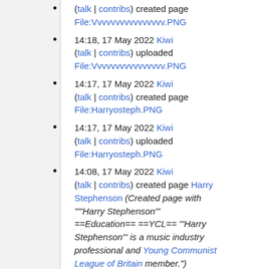(talk | contribs) created page File:Vvvvvvvvvvvvvvvv.PNG
14:18, 17 May 2022 Kiwi (talk | contribs) uploaded File:Vvvvvvvvvvvvvvvv.PNG
14:17, 17 May 2022 Kiwi (talk | contribs) created page File:Harryosteph.PNG
14:17, 17 May 2022 Kiwi (talk | contribs) uploaded File:Harryosteph.PNG
14:08, 17 May 2022 Kiwi (talk | contribs) created page Harry Stephenson (Created page with '""Harry Stephenson"' ==Education== ==YCL== '"Harry Stephenson"' is a music industry professional and Young Communist League of Britain member.")
23:07, 16 May 2022 Kiwi